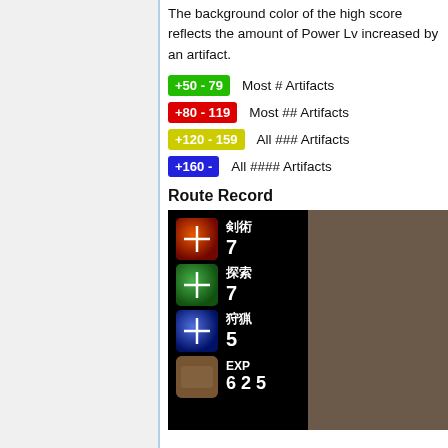The background color of the high score reflects the amount of Power Lv increased by an artifact.
+50 - 79   Most # Artifacts
+80 - 119  Most ## Artifacts
+120 - 159 All ### Artifacts
+160 -     All #### Artifacts
Route Record
[Figure (screenshot): Game UI screenshot showing skill icons (剣術 7, 探索 7, 狩猟 5, EXP) on left panel and route record list (Bamboo Village, Nineveh, Sandoni, Accra, Selen, Snow Fields, Others) on right panel]